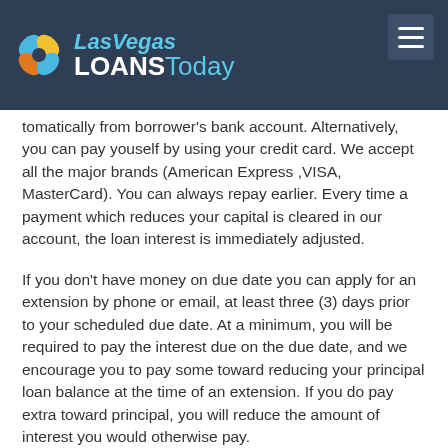[Figure (logo): Las Vegas Loans Today logo with blue/yellow flower icon and text on dark navy background with hamburger menu button]
tomatically from borrower's bank account. Alternatively, you can pay youself by using your credit card. We accept all the major brands (American Express ,VISA, MasterCard). You can always repay earlier. Every time a payment which reduces your capital is cleared in our account, the loan interest is immediately adjusted.
If you don't have money on due date you can apply for an extension by phone or email, at least three (3) days prior to your scheduled due date. At a minimum, you will be required to pay the interest due on the due date, and we encourage you to pay some toward reducing your principal loan balance at the time of an extension. If you do pay extra toward principal, you will reduce the amount of interest you would otherwise pay.
You may also cancel your loan if you notify us by 5:00 pm the